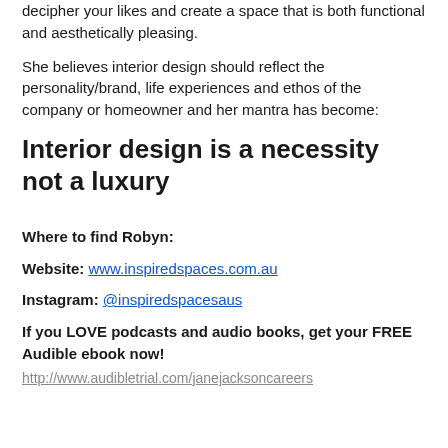decipher your likes and create a space that is both functional and aesthetically pleasing.
She believes interior design should reflect the personality/brand, life experiences and ethos of the company or homeowner and her mantra has become:
Interior design is a necessity not a luxury
Where to find Robyn:
Website: www.inspiredspaces.com.au
Instagram: @inspiredspacesaus
If you LOVE podcasts and audio books, get your FREE Audible ebook now!
http://www.audibletrial.com/janejacksoncareers